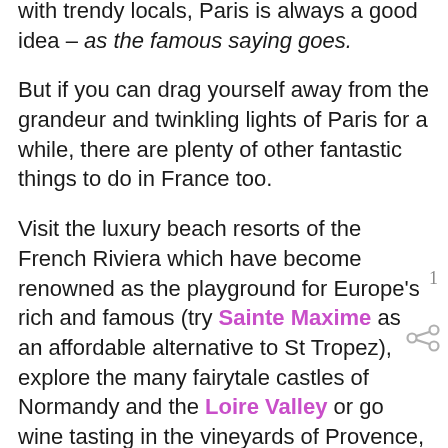with trendy locals, Paris is always a good idea – as the famous saying goes.
But if you can drag yourself away from the grandeur and twinkling lights of Paris for a while, there are plenty of other fantastic things to do in France too.
Visit the luxury beach resorts of the French Riviera which have become renowned as the playground for Europe's rich and famous (try Sainte Maxime as an affordable alternative to St Tropez), explore the many fairytale castles of Normandy and the Loire Valley or go wine tasting in the vineyards of Provence, Bordeaux or Champagne which produce some of the world's finest wines.